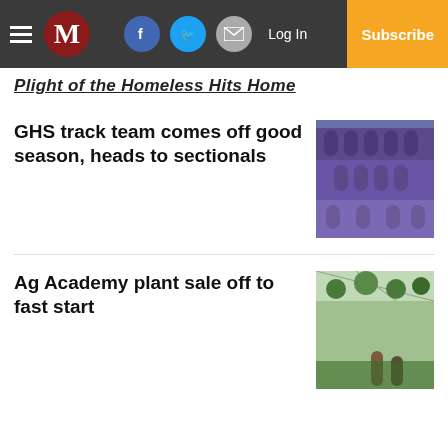M | Log In | Subscribe
Plight of the Homeless Hits Home
GHS track team comes off good season, heads to sectionals
[Figure (photo): GHS track team photo, athletes in purple uniforms on a track]
Ag Academy plant sale off to fast start
[Figure (photo): Greenhouse interior with hanging plants and people]